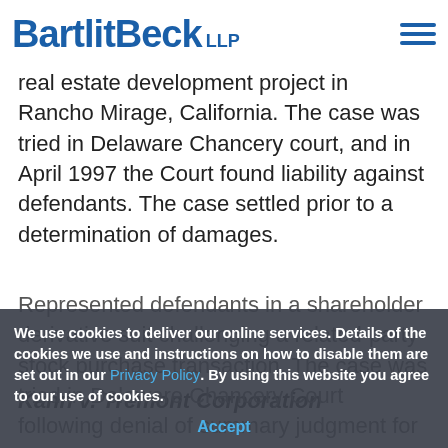In re MAXXAM Shareholders Securities Litigation
[Figure (logo): BartlitBeck LLP law firm logo in blue]
real estate development project in Rancho Mirage, California. The case was tried in Delaware Chancery court, and in April 1997 the Court found liability against defendants. The case settled prior to a determination of damages.
Kahn v. Tremont Corporation
Represented defendants in a shareholder derivative suit challenging a related-party stock purchase transaction. The case was tried in Delaware Chancery Court following denial of summary judgment for defendants on all claims. The case was reversed and remanded by the Delaware Supreme Court. The case settled in the course of the trial on remand in the Chancery.
We use cookies to deliver our online services. Details of the cookies we use and instructions on how to disable them are set out in our Privacy Policy. By using this website you agree to our use of cookies.